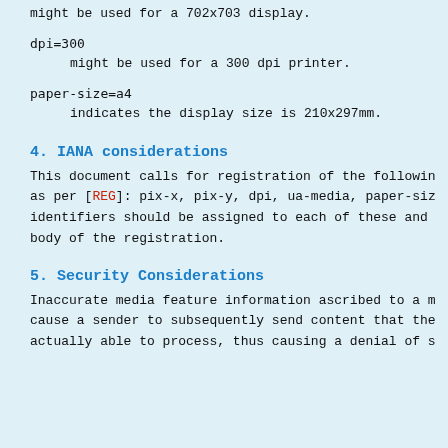might be used for a 702x703 display.
dpi=300
    might be used for a 300 dpi printer.
paper-size=a4
    indicates the display size is 210x297mm.
4.  IANA considerations
This document calls for registration of the following as per [REG]: pix-x, pix-y, dpi, ua-media, paper-size. identifiers should be assigned to each of these and body of the registration.
5.  Security Considerations
Inaccurate media feature information ascribed to a r cause a sender to subsequently send content that the actually able to process, thus causing a denial of s